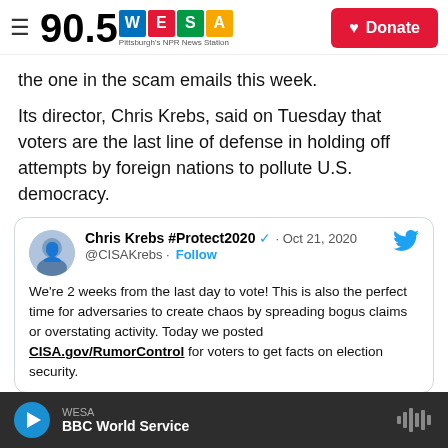90.5 WESA Pittsburgh's NPR News Station
the one in the scam emails this week.
Its director, Chris Krebs, said on Tuesday that voters are the last line of defense in holding off attempts by foreign nations to pollute U.S. democracy.
[Figure (screenshot): Embedded tweet from Chris Krebs #Protect2020 (@CISAKrebs), Oct 21, 2020. Tweet text: We're 2 weeks from the last day to vote! This is also the perfect time for adversaries to create chaos by spreading bogus claims or overstating activity. Today we posted CISA.gov/RumorControl for voters to get facts on election security.]
WESA BBC World Service